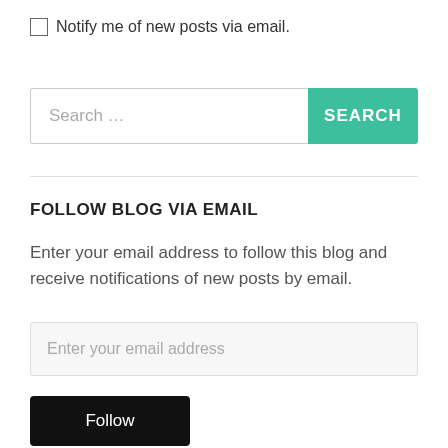Notify me of new posts via email.
[Figure (screenshot): Search bar with text input field showing 'Search ...' placeholder and a teal SEARCH button]
FOLLOW BLOG VIA EMAIL
Enter your email address to follow this blog and receive notifications of new posts by email.
[Figure (screenshot): Email address input field with placeholder 'Enter your email address']
[Figure (screenshot): Black Follow button]
Join 188 other followers